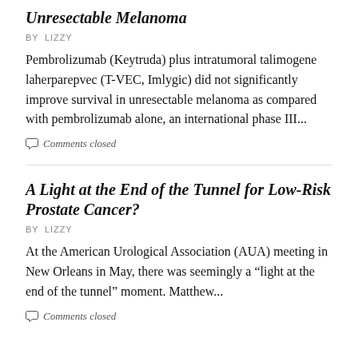Unresectable Melanoma
BY LIZZY
Pembrolizumab (Keytruda) plus intratumoral talimogene laherparepvec (T-VEC, Imlygic) did not significantly improve survival in unresectable melanoma as compared with pembrolizumab alone, an international phase III...
Comments closed
A Light at the End of the Tunnel for Low-Risk Prostate Cancer?
BY LIZZY
At the American Urological Association (AUA) meeting in New Orleans in May, there was seemingly a "light at the end of the tunnel" moment. Matthew...
Comments closed